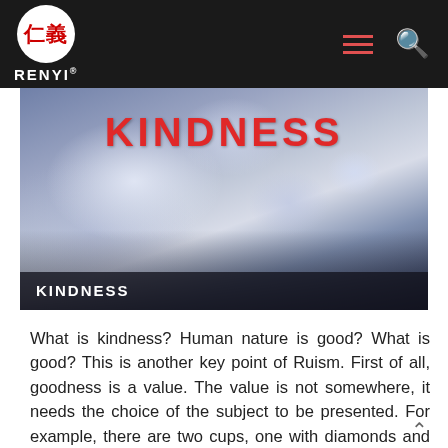RENYI®
[Figure (photo): Hero image with crystal/mineral formations (purple/blue/white), overlaid with large red text 'KINDNESS' at top, and a dark translucent bar at the bottom with white text 'KINDNESS']
What is kindness? Human nature is good? What is good? This is another key point of Ruism. First of all, goodness is a value. The value is not somewhere, it needs the choice of the subject to be presented. For example, there are two cups, one with diamonds and one with water. Which one do you think is more valuable? People generally say: "Of course ...